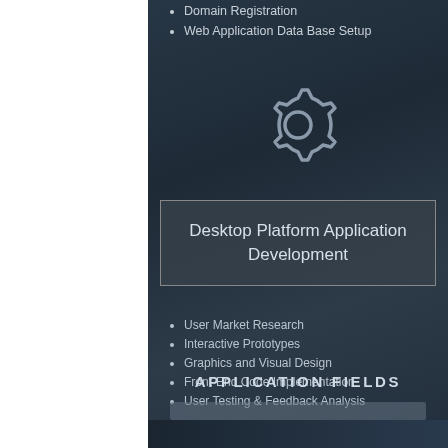Domain Registration
Web Application Data Base Setup
[Figure (illustration): Gear/settings icon outline in light gray on dark background]
Desktop Platform Application Development
User Market Research
Interactive Prototypes
Graphics and Visual Design
Front-End Code Implementation
User Testing & Feedback Analysis
APPLICATION FIELDS